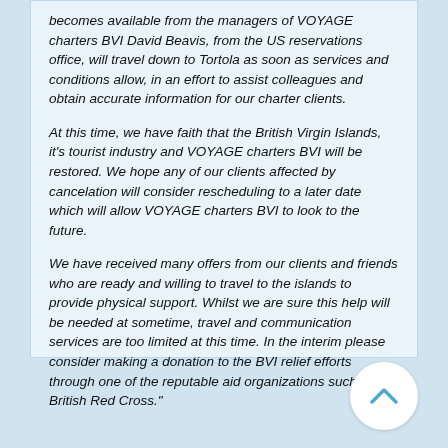becomes available from the managers of VOYAGE charters BVI David Beavis, from the US reservations office, will travel down to Tortola as soon as services and conditions allow, in an effort to assist colleagues and obtain accurate information for our charter clients.
At this time, we have faith that the British Virgin Islands, it's tourist industry and VOYAGE charters BVI will be restored. We hope any of our clients affected by cancelation will consider rescheduling to a later date which will allow VOYAGE charters BVI to look to the future.
We have received many offers from our clients and friends who are ready and willing to travel to the islands to provide physical support. Whilst we are sure this help will be needed at sometime, travel and communication services are too limited at this time. In the interim please consider making a donation to the BVI relief efforts through one of the reputable aid organizations such as the British Red Cross."
[Figure (other): Round scroll-to-top button with a chevron/caret arrow pointing upward, in blue on white circular background]